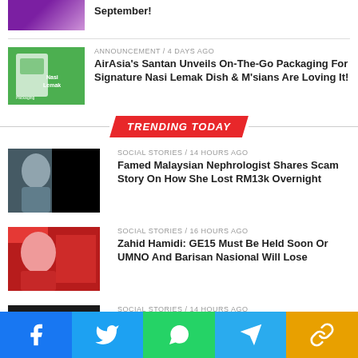[Figure (photo): Partial thumbnail of a news story about September]
September!
[Figure (photo): Green packaging thumbnail for AirAsia Santan nasi lemak article]
ANNOUNCEMENT / 4 days ago
AirAsia's Santan Unveils On-The-Go Packaging For Signature Nasi Lemak Dish & M'sians Are Loving It!
TRENDING TODAY
[Figure (photo): Dark background thumbnail for Malaysian Nephrologist scam story]
SOCIAL STORIES / 14 hours ago
Famed Malaysian Nephrologist Shares Scam Story On How She Lost RM13k Overnight
[Figure (photo): Red/white thumbnail of Zahid Hamidi for GE15 article]
SOCIAL STORIES / 16 hours ago
Zahid Hamidi: GE15 Must Be Held Soon Or UMNO And Barisan Nasional Will Lose
[Figure (photo): Dark thumbnail partially visible at the bottom]
SOCIAL STORIES / 14 hours ago
Social share bar: Facebook, Twitter, WhatsApp, Telegram, Copy link